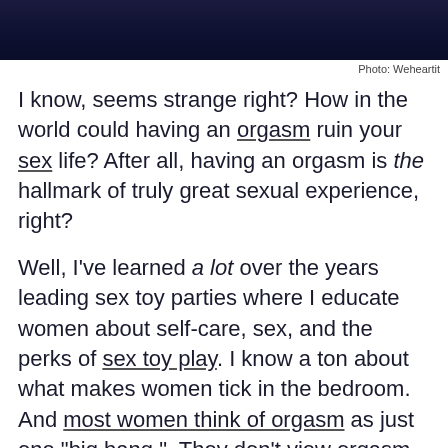[Figure (photo): Dark navy blue background photo strip at top of page]
Photo: Weheartit
I know, seems strange right? How in the world could having an orgasm ruin your sex life? After all, having an orgasm is the hallmark of truly great sexual experience, right?
Well, I've learned a lot over the years leading sex toy parties where I educate women about self-care, sex, and the perks of sex toy play. I know a ton about what makes women tick in the bedroom. And most women think of orgasm as just one "big bang."  They don't view orgasm as an experience or a journey. It's